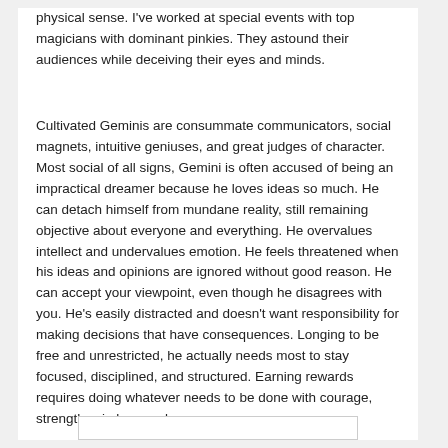physical sense. I've worked at special events with top magicians with dominant pinkies. They astound their audiences while deceiving their eyes and minds.
Cultivated Geminis are consummate communicators, social magnets, intuitive geniuses, and great judges of character. Most social of all signs, Gemini is often accused of being an impractical dreamer because he loves ideas so much. He can detach himself from mundane reality, still remaining objective about everyone and everything. He overvalues intellect and undervalues emotion. He feels threatened when his ideas and opinions are ignored without good reason. He can accept your viewpoint, even though he disagrees with you. He's easily distracted and doesn't want responsibility for making decisions that have consequences. Longing to be free and unrestricted, he actually needs most to stay focused, disciplined, and structured. Earning rewards requires doing whatever needs to be done with courage, strength, wisdom, and grace.